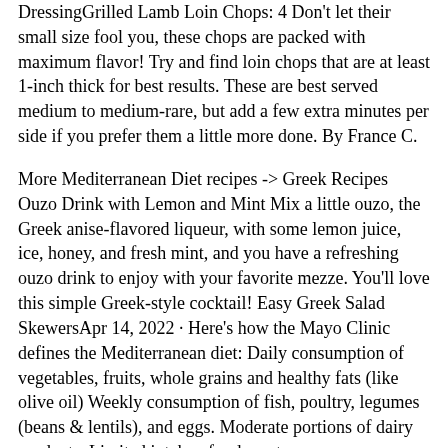DressingGrilled Lamb Loin Chops: 4 Don't let their small size fool you, these chops are packed with maximum flavor! Try and find loin chops that are at least 1-inch thick for best results. These are best served medium to medium-rare, but add a few extra minutes per side if you prefer them a little more done. By France C.
More Mediterranean Diet recipes -> Greek Recipes Ouzo Drink with Lemon and Mint Mix a little ouzo, the Greek anise-flavored liqueur, with some lemon juice, ice, honey, and fresh mint, and you have a refreshing ouzo drink to enjoy with your favorite mezze. You'll love this simple Greek-style cocktail! Easy Greek Salad SkewersApr 14, 2022 · Here's how the Mayo Clinic defines the Mediterranean diet: Daily consumption of vegetables, fruits, whole grains and healthy fats (like olive oil) Weekly consumption of fish, poultry, legumes (beans & lentils), and eggs. Moderate portions of dairy products. Limited intake of red meat.
Aug 19, 2020 · Quinoa Breakfast Cereal. Credit: Tammy Lynn. View Recipe. Quinoa gets up for breakfast, starring here as a hot cereal with apricots, almonds, flax seeds, and warm spices. "A nice change from the usual bowl of oatmeal, this is jam-packed with nutrients and energy!" says laur_218. "Serve warm with milk. Books by tara westoverProduce consumed on a Mediterranean diet includes: Veggies Artichokes Beets Broccoli Brussels sprouts Cabbage Carrots Celery Cucumbers Eggplant Leafy greens